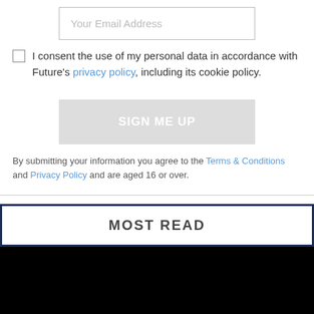Your Email Address
I consent the use of my personal data in accordance with Future's privacy policy, including its cookie policy.
SIGN ME UP
By submitting your information you agree to the Terms & Conditions and Privacy Policy and are aged 16 or over.
MOST READ
[Figure (photo): Black image area below MOST READ header]